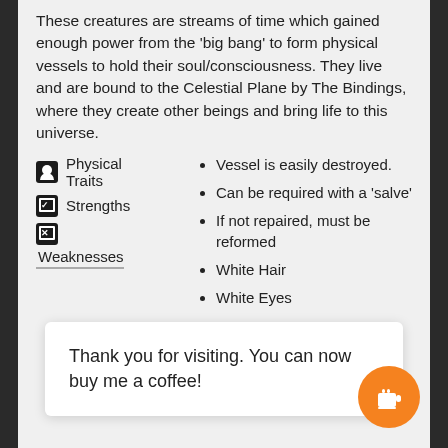These creatures are streams of time which gained enough power from the 'big bang' to form physical vessels to hold their soul/consciousness. They live and are bound to the Celestial Plane by The Bindings, where they create other beings and bring life to this universe.
Physical Traits
Strengths
Weaknesses
Vessel is easily destroyed.
Can be required with a 'salve'
If not repaired, must be reformed
White Hair
White Eyes
Thank you for visiting. You can now buy me a coffee!